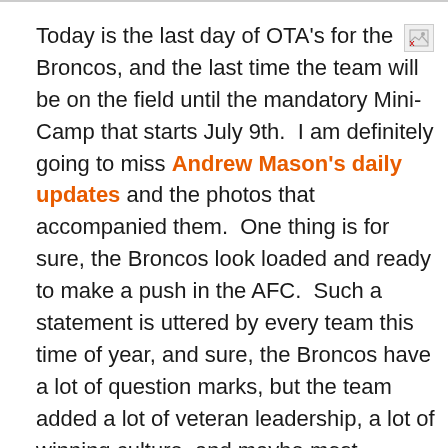Today is the last day of OTA's for the Broncos, and the last time the team will be on the field until the mandatory Mini-Camp that starts July 9th.  I am definitely going to miss Andrew Mason's daily updates and the photos that accompanied them.  One thing is for sure, the Broncos look loaded and ready to make a push in the AFC.  Such a statement is uttered by every team this time of year, and sure, the Broncos have a lot of question marks, but the team added a lot of veteran leadership, a lot of winning culture, and maybe most importantly a lot of beef to the defensive line.
[Figure (other): Broken image icon in upper right corner]